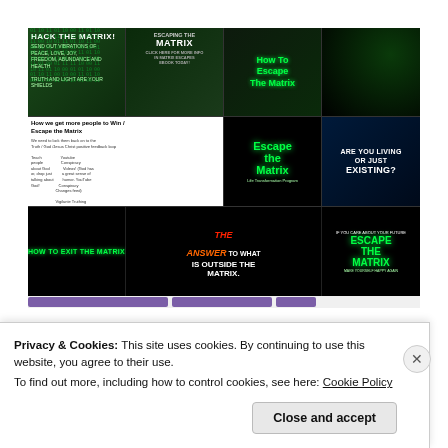[Figure (infographic): A 4x3 grid collage of image thumbnails all themed around 'Escape the Matrix' / conspiracy / self-help content on a dark green and black background. Top row: 'HACK THE MATRIX!' graphic with green text, 'ESCAPING THE MATRIX' thumbnail, 'How To Escape The Matrix' green text on dark background, matrix code rain image. Middle row: 'How we get more people to Win / Escape the Matrix' flowchart on white background, 'Escape the Matrix Life Transformation Program' green glowing text on black, 'ARE YOU LIVING OR JUST EXISTING?' blue-tinted image. Bottom row: 'HOW TO EXIT THE MATRIX' green text on black, 'THE ANSWER TO WHAT IS OUTSIDE THE MATRIX.' red/white bold text with orange 'ANSWER', 'IF YOU CARE ABOUT YOUR FUTURE ESCAPE THE MATRIX MAKE YOURSELF HAPPY AGAIN' green glowing text on black.]
Privacy & Cookies: This site uses cookies. By continuing to use this website, you agree to their use.
To find out more, including how to control cookies, see here: Cookie Policy
Close and accept